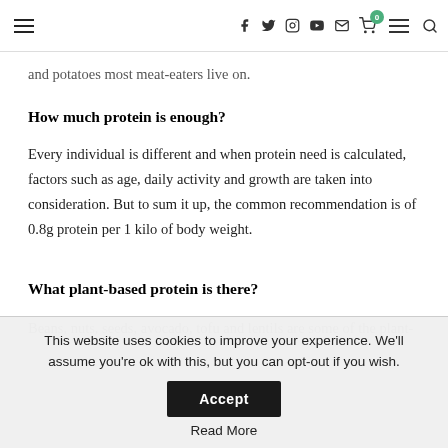Navigation header with hamburger menu, social icons (Facebook, Twitter, Instagram, YouTube, Email), cart with badge 0, menu, and search icons
and potatoes most meat-eaters live on.
How much protein is enough?
Every individual is different and when protein need is calculated, factors such as age, daily activity and growth are taken into consideration. But to sum it up, the common recommendation is of 0.8g protein per 1 kilo of body weight.
What plant-based protein is there?
Beans, nuts, seeds, avocado, tofu and lentils are some of the plant-
This website uses cookies to improve your experience. We'll assume you're ok with this, but you can opt-out if you wish.
Accept
Read More